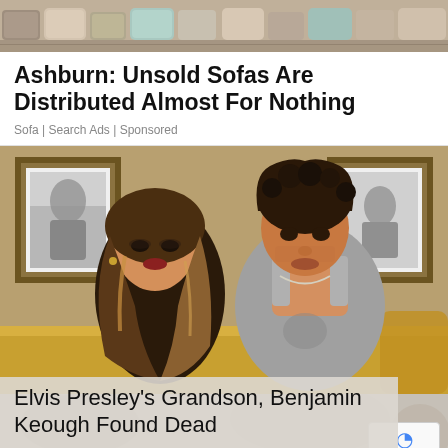[Figure (photo): Top banner image showing a row of sofas/cushions in various colors from a store display]
Ashburn: Unsold Sofas Are Distributed Almost For Nothing
Sofa | Search Ads | Sponsored
[Figure (photo): Photo of a woman with long blonde highlighted hair leaning against a young man in a gray tank top, sitting on a golden couch with black-and-white framed photos on the wall behind them]
Elvis Presley's Grandson, Benjamin Keough Found Dead